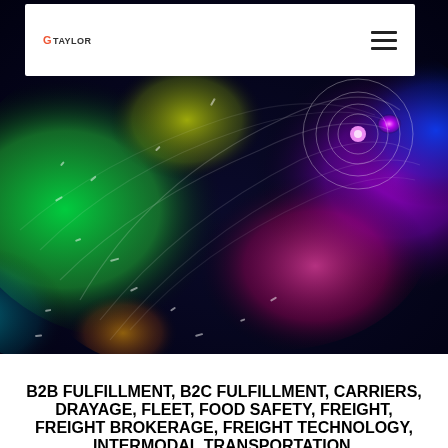[Figure (screenshot): Website header/navigation bar with GTaylor logo on the left and hamburger menu icon on the right, with a white card background]
[Figure (photo): Abstract swirling colorful weather visualization image showing a hurricane-like spiral pattern with vivid greens, blues, purples, and magentas against a dark background]
B2B FULFILLMENT, B2C FULFILLMENT, CARRIERS, DRAYAGE, FLEET, FOOD SAFETY, FREIGHT, FREIGHT BROKERAGE, FREIGHT TECHNOLOGY, INTERMODAL TRANSPORTATION,